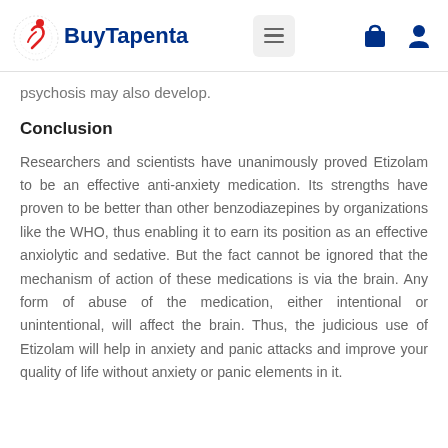BuyTapenta
psychosis may also develop.
Conclusion
Researchers and scientists have unanimously proved Etizolam to be an effective anti-anxiety medication. Its strengths have proven to be better than other benzodiazepines by organizations like the WHO, thus enabling it to earn its position as an effective anxiolytic and sedative. But the fact cannot be ignored that the mechanism of action of these medications is via the brain. Any form of abuse of the medication, either intentional or unintentional, will affect the brain. Thus, the judicious use of Etizolam will help in anxiety and panic attacks and improve your quality of life without anxiety or panic elements in it.